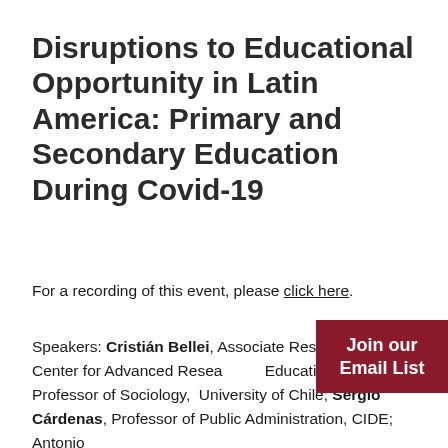Disruptions to Educational Opportunity in Latin America: Primary and Secondary Education During Covid-19
For a recording of this event, please click here.
Speakers: Cristián Bellei, Associate Researcher, Center for Advanced Research in Education, and Professor of Sociology, University of Chile; Sergio Cárdenas, Professor of Public Administration, CIDE; Antonio...